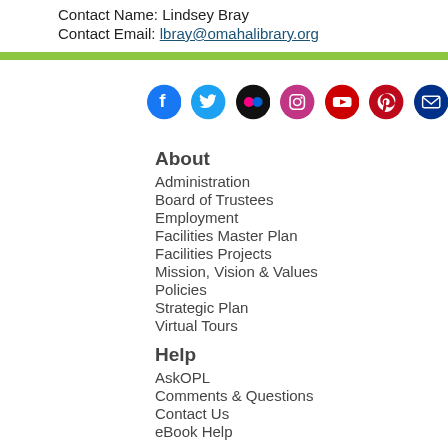Contact Name: Lindsey Bray
Contact Email: lbray@omahalibrary.org
[Figure (infographic): Row of social media icons: Facebook (blue), Twitter (blue), Flickr (black), Instagram (pink/magenta), YouTube (red), Pinterest (dark red), Email (dark blue)]
About
Administration
Board of Trustees
Employment
Facilities Master Plan
Facilities Projects
Mission, Vision & Values
Policies
Strategic Plan
Virtual Tours
Help
AskOPL
Comments & Questions
Contact Us
eBook Help